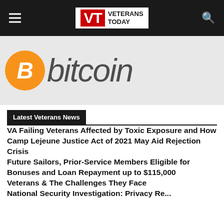Veterans Today
[Figure (logo): Bitcoin logo with orange circle containing a stylized white B and the word 'bitcoin' in dark italic text]
Latest Veterans News
VA Failing Veterans Affected by Toxic Exposure and How Camp Lejeune Justice Act of 2021 May Aid Rejection Crisis
Future Sailors, Prior-Service Members Eligible for Bonuses and Loan Repayment up to $115,000
Veterans & The Challenges They Face
National Security Investigation: Privacy Report...